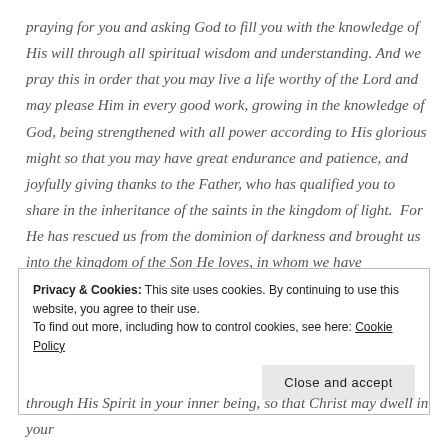praying for you and asking God to fill you with the knowledge of His will through all spiritual wisdom and understanding. And we pray this in order that you may live a life worthy of the Lord and may please Him in every good work, growing in the knowledge of God, being strengthened with all power according to His glorious might so that you may have great endurance and patience, and joyfully giving thanks to the Father, who has qualified you to share in the inheritance of the saints in the kingdom of light. For He has rescued us from the dominion of darkness and brought us into the kingdom of the Son He loves, in whom we have redemption, the forgiveness of sins. –Colossians 1:9-14
Privacy & Cookies: This site uses cookies. By continuing to use this website, you agree to their use. To find out more, including how to control cookies, see here: Cookie Policy
Close and accept
through His Spirit in your inner being, so that Christ may dwell in your